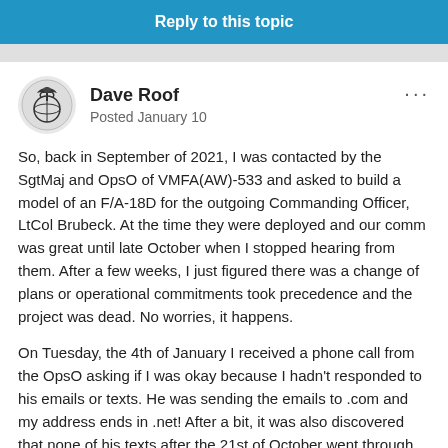Reply to this topic
Dave Roof
Posted January 10
So, back in September of 2021, I was contacted by the SgtMaj and OpsO of VMFA(AW)-533 and asked to build a model of an F/A-18D for the outgoing Commanding Officer, LtCol Brubeck. At the time they were deployed and our comm was great until late October when I stopped hearing from them. After a few weeks, I just figured there was a change of plans or operational commitments took precedence and the project was dead. No worries, it happens.
On Tuesday, the 4th of January I received a phone call from the OpsO asking if I was okay because I hadn't responded to his emails or texts. He was sending the emails to .com and my address ends in .net! After a bit, it was also discovered that none of his texts after the 21st of October went through. Anyway, he asks if I have the model ready and invites me to the Change of Command for Friday, the 7th! "Sir, I never started it when I